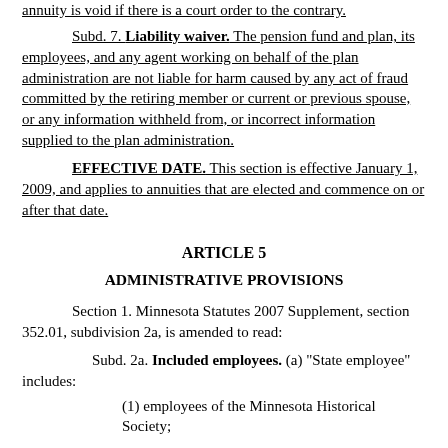annuity is void if there is a court order to the contrary.
Subd. 7. Liability waiver. The pension fund and plan, its employees, and any agent working on behalf of the plan administration are not liable for harm caused by any act of fraud committed by the retiring member or current or previous spouse, or any information withheld from, or incorrect information supplied to the plan administration.
EFFECTIVE DATE. This section is effective January 1, 2009, and applies to annuities that are elected and commence on or after that date.
ARTICLE 5
ADMINISTRATIVE PROVISIONS
Section 1. Minnesota Statutes 2007 Supplement, section 352.01, subdivision 2a, is amended to read:
Subd. 2a. Included employees. (a) "State employee" includes:
(1) employees of the Minnesota Historical Society;